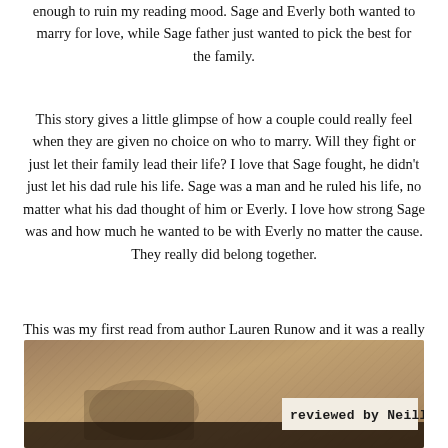enough to ruin my reading mood. Sage and Everly both wanted to marry for love, while Sage father just wanted to pick the best for the family.
This story gives a little glimpse of how a couple could really feel when they are given no choice on who to marry. Will they fight or just let their family lead their life? I love that Sage fought, he didn't just let his dad rule his life. Sage was a man and he ruled his life, no matter what his dad thought of him or Everly. I love how strong Sage was and how much he wanted to be with Everly no matter the cause. They really did belong together.
This was my first read from author Lauren Runow and it was a really enjoyable read, so glad to have gotten the chance to read it.
[Figure (photo): Sepia/brown toned photo of a book or reading scene with a label reading 'reviewed by Neilliza' in the lower right corner, overlaid on a dark bar at the bottom.]